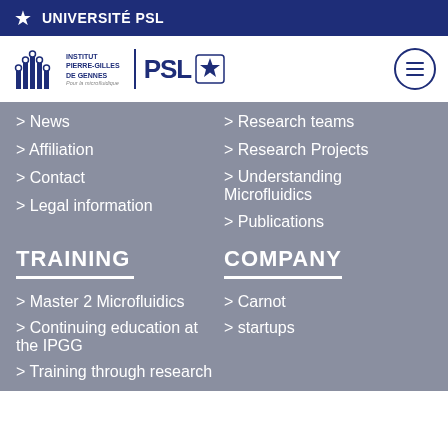UNIVERSITÉ PSL
[Figure (logo): Institut Pierre-Gilles de Gennes logo with PSL star logo and hamburger menu button]
> News
> Research teams
> Affiliation
> Research Projects
> Contact
> Understanding Microfluidics
> Legal information
> Publications
TRAINING
COMPANY
> Master 2 Microfluidics
> Carnot
> Continuing education at the IPGG
> startups
> Training through research